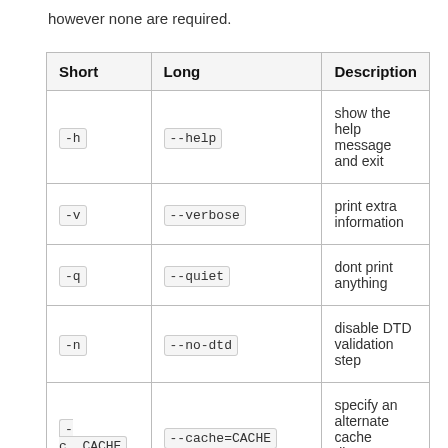however none are required.
| Short | Long | Description |
| --- | --- | --- |
| -h | --help | show the help message and exit |
| -v | --verbose | print extra information |
| -q | --quiet | dont print anything |
| -n | --no-dtd | disable DTD validation step |
| -c  CACHE | --cache=CACHE | specify an alternate cache directory to write to |